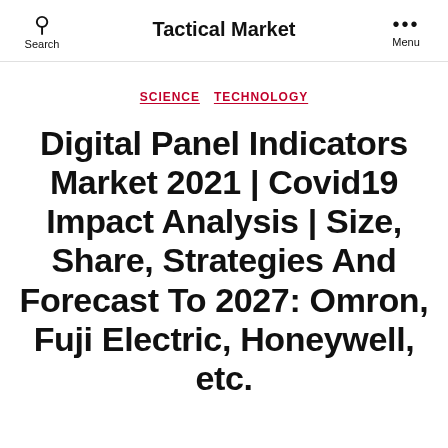Search  Tactical Market  Menu
SCIENCE  TECHNOLOGY
Digital Panel Indicators Market 2021 | Covid19 Impact Analysis | Size, Share, Strategies And Forecast To 2027: Omron, Fuji Electric, Honeywell, etc.